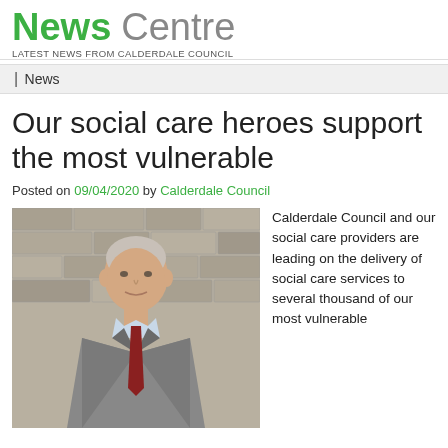News Centre
LATEST NEWS FROM CALDERDALE COUNCIL
News
Our social care heroes support the most vulnerable
Posted on 09/04/2020 by Calderdale Council
[Figure (photo): Elderly man in grey suit and dark red tie, standing in front of a stone brick wall, smiling gently]
Calderdale Council and our social care providers are leading on the delivery of social care services to several thousand of our most vulnerable